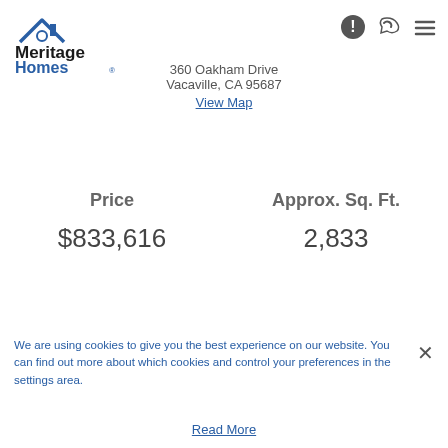[Figure (logo): Meritage Homes logo with roof graphic, black 'Meritage' text and blue 'Homes' text]
360 Oakham Drive
Vacaville, CA 95687
View Map
Price
Approx. Sq. Ft.
$833,616
2,833
We are using cookies to give you the best experience on our website. You can find out more about which cookies and control your preferences in the settings area.
Read More